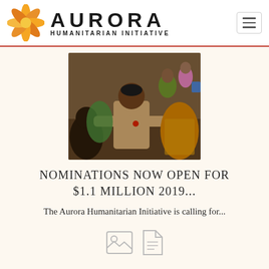[Figure (logo): Aurora Humanitarian Initiative logo: orange flower/pinwheel icon with text AURORA HUMANITARIAN INITIATIVE]
[Figure (photo): Photograph of people in an outdoor scene, appears to show a man distributing or receiving items among a crowd in an African setting]
NOMINATIONS NOW OPEN FOR $1.1 MILLION 2019...
The Aurora Humanitarian Initiative is calling for...
[Figure (illustration): Two small grey placeholder icons: an image icon and a document icon]